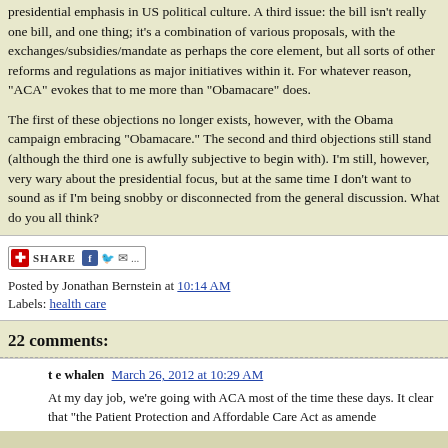presidential emphasis in US political culture. A third issue: the bill isn't really one bill, and one thing; it's a combination of various proposals, with the exchanges/subsidies/mandate as perhaps the core element, but all sorts of other reforms and regulations as major initiatives within it. For whatever reason, "ACA" evokes that to me more than "Obamacare" does.
The first of these objections no longer exists, however, with the Obama campaign embracing "Obamacare." The second and third objections still stand (although the third one is awfully subjective to begin with). I'm still, however, very wary about the presidential focus, but at the same time I don't want to sound as if I'm being snobby or disconnected from the general discussion. What do you all think?
Posted by Jonathan Bernstein at 10:14 AM
Labels: health care
22 comments:
t e whalen   March 26, 2012 at 10:29 AM
At my day job, we're going with ACA most of the time these days. It clear that "the Patient Protection and Affordable Care Act as amende